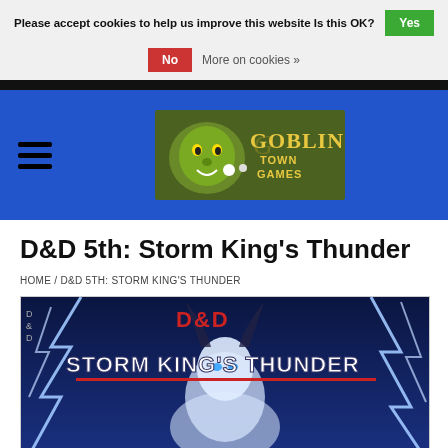Please accept cookies to help us improve this website Is this OK?  Yes  No  More on cookies »
[Figure (logo): Goblin Town Games logo on olive/dark green background with golden goblin illustration and text]
D&D 5th: Storm King's Thunder
HOME / D&D 5TH: STORM KING'S THUNDER
[Figure (photo): D&D Storm King's Thunder product cover art showing a giant figure amid lightning bolts with the title text 'Storm King's Thunder' in large white letters and D&D logo in red]